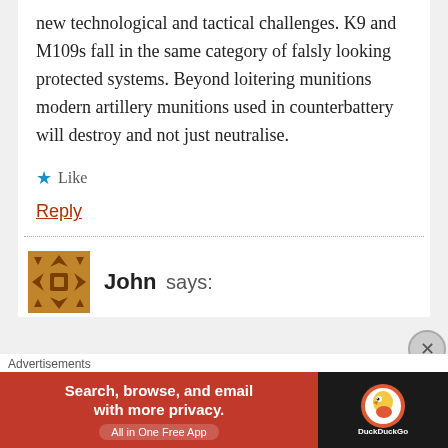new technological and tactical challenges. K9 and M109s fall in the same category of falsly looking protected systems. Beyond loitering munitions modern artillery munitions used in counterbattery will destroy and not just neutralise.
★ Like
Reply
John says:
[Figure (other): User avatar icon with orange/brown geometric/symmetrical pattern]
Advertisements
[Figure (other): DuckDuckGo advertisement banner: 'Search, browse, and email with more privacy. All in One Free App' with DuckDuckGo logo on dark background]